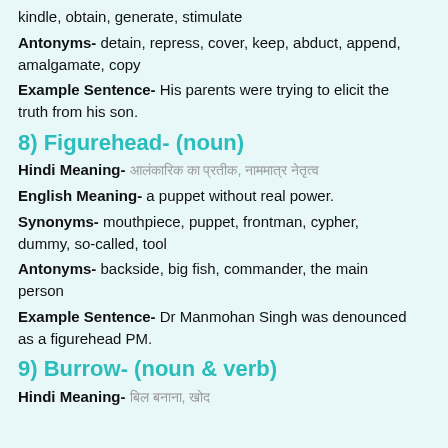kindle, obtain, generate, stimulate
Antonyms- detain, repress, cover, keep, abduct, append, amalgamate, copy
Example Sentence- His parents were trying to elicit the truth from his son.
8) Figurehead- (noun)
Hindi Meaning- आलंकारिक या प्रतीक, नाममात्र नेतृत्व
English Meaning- a puppet without real power.
Synonyms- mouthpiece, puppet, frontman, cypher, dummy, so-called, tool
Antonyms- backside, big fish, commander, the main person
Example Sentence- Dr Manmohan Singh was denounced as a figurehead PM.
9) Burrow- (noun & verb)
Hindi Meaning- बिल बनाना, खोद